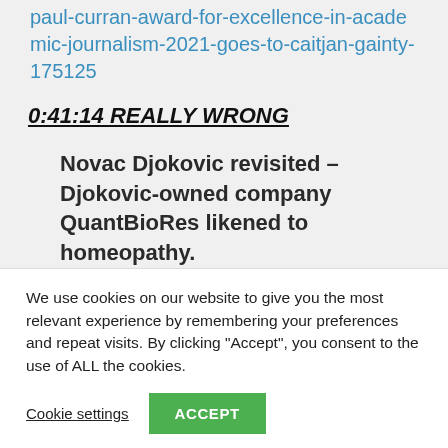paul-curran-award-for-excellence-in-academic-journalism-2021-goes-to-caitjan-gainty-175125
0:41:14 REALLY WRONG
Novac Djokovic revisited – Djokovic-owned company QuantBioRes likened to homeopathy. Zlatan Ibrahimovic gets a
We use cookies on our website to give you the most relevant experience by remembering your preferences and repeat visits. By clicking "Accept", you consent to the use of ALL the cookies.
Cookie settings
ACCEPT